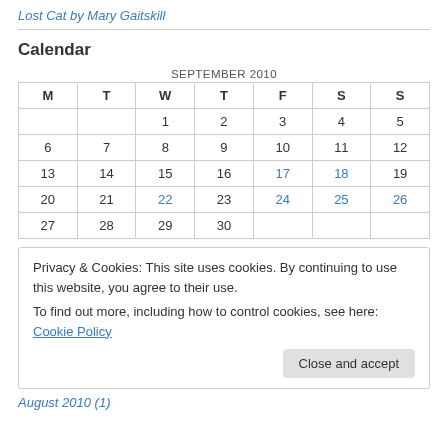Lost Cat by Mary Gaitskill
Calendar
| M | T | W | T | F | S | S |
| --- | --- | --- | --- | --- | --- | --- |
|  |  | 1 | 2 | 3 | 4 | 5 |
| 6 | 7 | 8 | 9 | 10 | 11 | 12 |
| 13 | 14 | 15 | 16 | 17 | 18 | 19 |
| 20 | 21 | 22 | 23 | 24 | 25 | 26 |
| 27 | 28 | 29 | 30 |  |  |  |
Privacy & Cookies: This site uses cookies. By continuing to use this website, you agree to their use.
To find out more, including how to control cookies, see here: Cookie Policy
Close and accept
August 2010 (1)